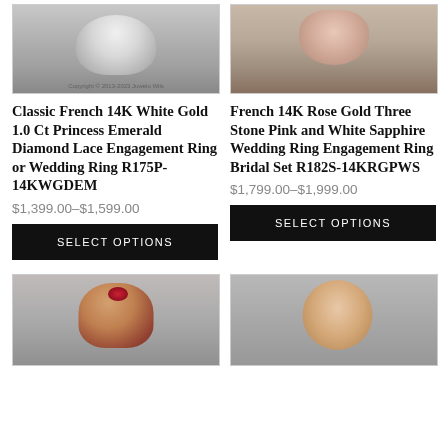[Figure (photo): Classic French 14K White Gold ring product photo on gray background, top portion visible]
[Figure (photo): French 14K Rose Gold Three Stone ring product photo on gray background, top portion visible]
Classic French 14K White Gold 1.0 Ct Princess Emerald Diamond Lace Engagement Ring or Wedding Ring R175P-14KWGDEM
French 14K Rose Gold Three Stone Pink and White Sapphire Wedding Ring Engagement Ring Bridal Set R182S-14KRGPWS
$1,399.00–$1,599.00
$1,799.00–$1,999.00
SELECT OPTIONS
SELECT OPTIONS
[Figure (photo): Rose gold ring with ruby/red gemstone center stone and diamond accents, bottom portion of product listing]
[Figure (photo): Rose gold flower-style ring with clear center stone and black diamond band accents, bottom portion of product listing]